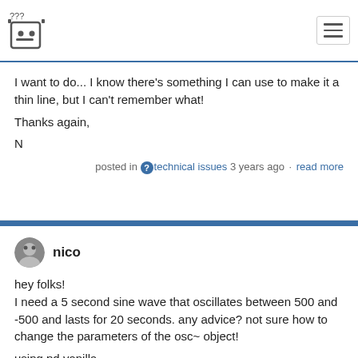??? [logo icon] [hamburger menu]
I want to do... I know there's something I can use to make it a thin line, but I can't remember what!
Thanks again,
N
posted in technical issues 3 years ago · read more
nico
hey folks!
I need a 5 second sine wave that oscillates between 500 and -500 and lasts for 20 seconds. any advice? not sure how to change the parameters of the osc~ object!

using pd vanilla.

Thanks in advance!

by the way, what are my options beside osc? are there other easily accessible waveform options?